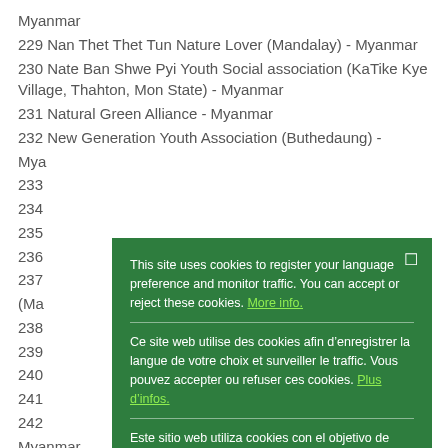Myanmar
229 Nan Thet Thet Tun Nature Lover (Mandalay) - Myanmar
230 Nate Ban Shwe Pyi Youth Social association (KaTike Kye Village, Thahton, Mon State) - Myanmar
231 Natural Green Alliance - Myanmar
232 New Generation Youth Association (Buthedaung) - Myanmar
233 [partially obscured]
234 [partially obscured]
235 [partially obscured]
236 [partially obscured]
237 [partially obscured] (Ma...)
238 [partially obscured]
239 [partially obscured]
240 [partially obscured]
241 [partially obscured]
242 [partially obscured]
Myanmar
Cookie notice overlay - This site uses cookies to register your language preference and monitor traffic. You can accept or reject these cookies. More info. Ce site web utilise des cookies afin d’enregistrer la langue de votre choix et surveiller le traffic. Vous pouvez accepter ou refuser ces cookies. Plus d’infos. Este sitio web utiliza cookies con el objetivo de registrar su idioma preferido y controlar el tráfico. Puede aceptar o rechazar estas cookies. Mayor información. Ok button.